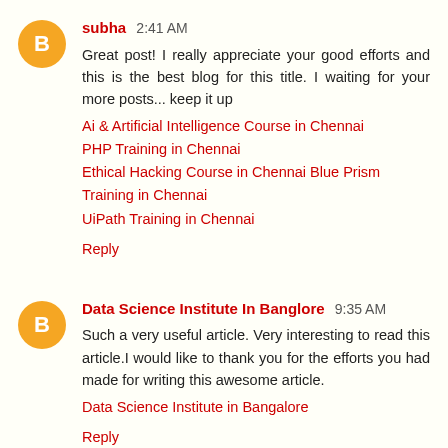subha 2:41 AM
Great post! I really appreciate your good efforts and this is the best blog for this title. I waiting for your more posts... keep it up
Ai & Artificial Intelligence Course in Chennai
PHP Training in Chennai
Ethical Hacking Course in Chennai Blue Prism Training in Chennai
UiPath Training in Chennai
Reply
Data Science Institute In Banglore 9:35 AM
Such a very useful article. Very interesting to read this article.I would like to thank you for the efforts you had made for writing this awesome article.
Data Science Institute in Bangalore
Reply